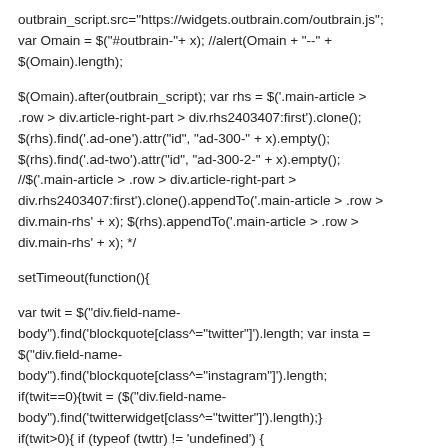outbrain_script.src="https://widgets.outbrain.com/outbrain.js"; var Omain = $("#outbrain-"+ x); //alert(Omain + "--" + $(Omain).length);
$(Omain).after(outbrain_script); var rhs = $('.main-article > .row > div.article-right-part > div.rhs2403407:first').clone(); $(rhs).find('.ad-one').attr("id", "ad-300-" + x).empty(); $(rhs).find('.ad-two').attr("id", "ad-300-2-" + x).empty(); //$('.main-article > .row > div.article-right-part > div.rhs2403407:first').clone().appendTo('.main-article > .row > div.main-rhs' + x); $(rhs).appendTo('.main-article > .row > div.main-rhs' + x); */
setTimeout(function(){
var twit = $("div.field-name-body").find('blockquote[class^="twitter"]').length; var insta = $("div.field-name-body").find('blockquote[class^="instagram"]').length; if(twit==0){twit = $("div.field-name-body").find('twitterwidget[class^="twitter"]').length;} if(twit>0){ if (typeof (twttr) != 'undefined') {